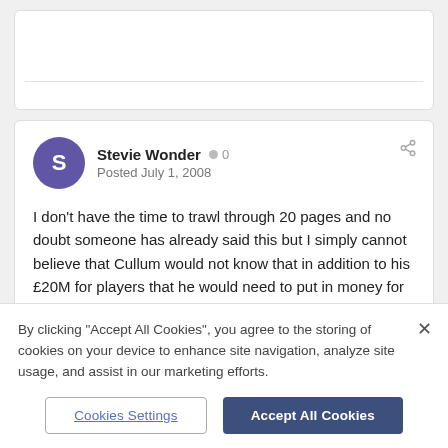[Top card — partially visible, cropped content]
Stevie Wonder · 0 · Posted July 1, 2008
I don't have the time to trawl through 20 pages and no doubt someone has already said this but I simply cannot believe that Cullum would not know that in addition to his £20M for players that he would need to put in money for Delia's shares and take on the debt!

Cullum has said only informal talks have taken place so equally he will be aware a formal offer needs to be made and until a formal offer is
By clicking "Accept All Cookies", you agree to the storing of cookies on your device to enhance site navigation, analyze site usage, and assist in our marketing efforts.
Cookies Settings | Accept All Cookies